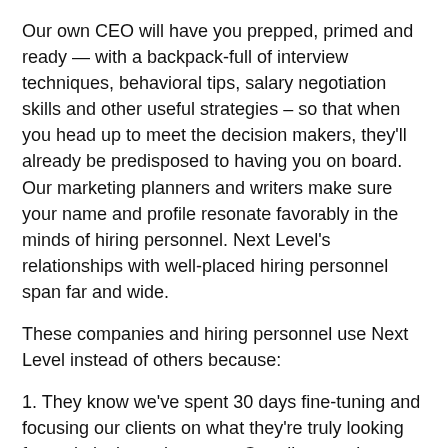Our own CEO will have you prepped, primed and ready — with a backpack-full of interview techniques, behavioral tips, salary negotiation skills and other useful strategies – so that when you head up to meet the decision makers, they'll already be predisposed to having you on board. Our marketing planners and writers make sure your name and profile resonate favorably in the minds of hiring personnel. Next Level's relationships with well-placed hiring personnel span far and wide.
These companies and hiring personnel use Next Level instead of others because:
1. They know we've spent 30 days fine-tuning and focusing our clients on what they're truly looking for and placing value upon. Our clients arrive expertly pre-screened. Through our unique process, we're able to present hiring companies with a steady stream of talent, ability — and sometimes even genius.
2. Hiring personnel have grown weary of recruiter tactics and reading the same resumes. They welcome our distinct